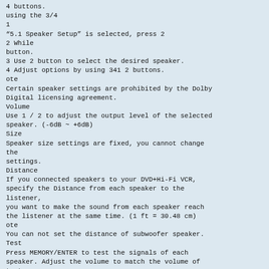4 buttons.
using the 3/4
1
“5.1 Speaker Setup” is selected, press 2
2 While
button.
3 Use 2 button to select the desired speaker.
4 Adjust options by using 341 2 buttons.
ote
Certain speaker settings are prohibited by the Dolby Digital licensing agreement.
Volume
Use 1 / 2 to adjust the output level of the selected speaker. (-6dB ~ +6dB)
Size
Speaker size settings are fixed, you cannot change the
settings.
Distance
If you connected speakers to your DVD+Hi-Fi VCR, specify the Distance from each speaker to the listener,
you want to make the sound from each speaker reach the listener at the same time. (1 ft = 30.48 cm)
ote
You can not set the distance of subwoofer speaker.
Test
Press MEMORY/ENTER to test the signals of each speaker. Adjust the volume to match the volume of test
signals memorized in the system.
Front Left (L) → Center → Front Right (R) →
Front Right (R) → Front Left (L) →